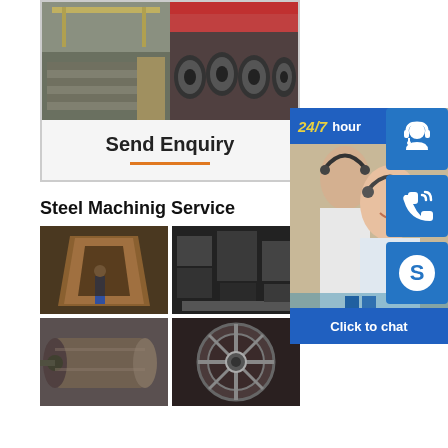[Figure (photo): Two factory photos side by side showing steel sheets/plates and steel coils in an industrial warehouse]
Send Enquiry
Steel Machinig Service
[Figure (photo): Grid of four steel machining service photos: large vessel/cone structure, heavy machinery components, cylindrical tank, turbine/wheel]
[Figure (photo): Customer service representatives with headsets at computers, partially visible]
24/7 hour
[Figure (illustration): Blue button with headset/customer support icon]
[Figure (illustration): Blue button with phone/call icon]
[Figure (illustration): Blue button with Skype icon]
Click to chat